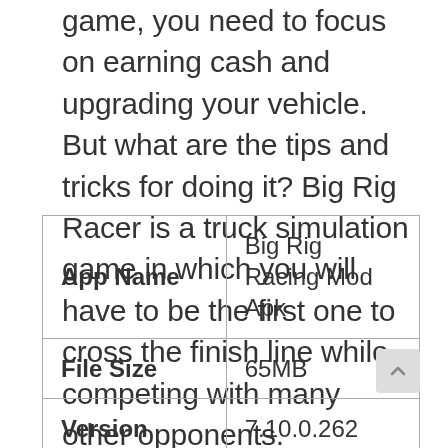game, you need to focus on earning cash and upgrading your vehicle. But what are the tips and tricks for doing it? Big Rig Racer is a truck simulation game in which you will have to be the first one to cross the finish line while competing with many other opponents.
| App Name | Big Rig Racing Mod Apk |
| File Size | 65MB |
| Version | 7.10.0.262 |
| Requirement | 6.0 and up |
| Last Updated | December 30, 2021 |